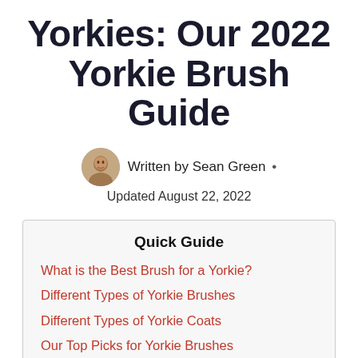Yorkies: Our 2022 Yorkie Brush Guide
Written by Sean Green • Updated August 22, 2022
Quick Guide
What is the Best Brush for a Yorkie?
Different Types of Yorkie Brushes
Different Types of Yorkie Coats
Our Top Picks for Yorkie Brushes
JW Pet Gripsoft Slicker Brush Soft Pin